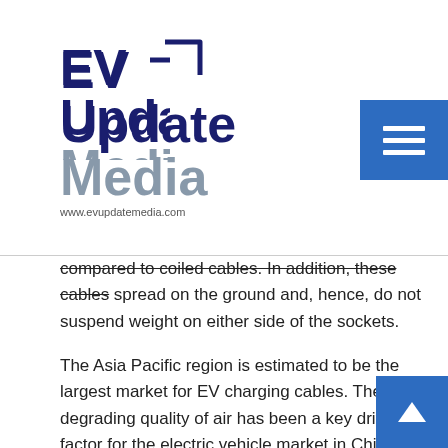[Figure (logo): EV Update Media logo with plug icon graphic and website URL www.evupdatemedia.com]
compared to coiled cables. In addition, these cables spread on the ground and, hence, do not suspend weight on either side of the sockets.
The Asia Pacific region is estimated to be the largest market for EV charging cables. The degrading quality of air has been a key driving factor for the electric vehicle market in China. The increasing demand for electric vehicles has created opportunities for EV charging cables manufacturers to innovate and develop new products. The EV charging cables market in India is expected to grow at the highest CAGR with the increasing number of EV charging stations. Increasing